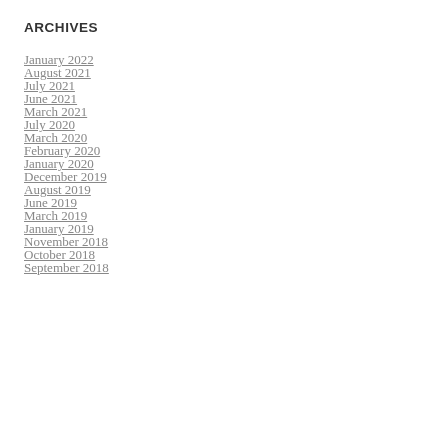ARCHIVES
January 2022
August 2021
July 2021
June 2021
March 2021
July 2020
March 2020
February 2020
January 2020
December 2019
August 2019
June 2019
March 2019
January 2019
November 2018
October 2018
September 2018